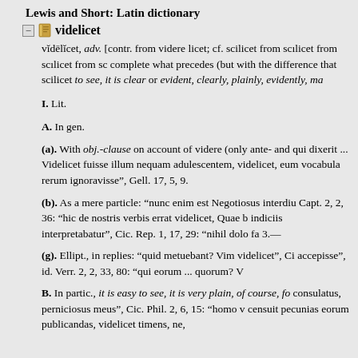Lewis and Short: Latin dictionary
videlicet
videlicet, adv. [contr. from videre licet; cf. scilicet from sc complete what precedes (but with the difference that scilicet to see, it is clear or evident, clearly, plainly, evidently, ma
I. Lit.
A. In gen.
(a). With obj.-clause on account of videre (only ante- and qui dixerit ... Videlicet fuisse illum nequam adulescentem, videlicet, eum vocabula rerum ignoravisse”, Gell. 17, 5, 9.
(b). As a mere particle: “nunc enim est Negotiosus interdiu Capt. 2, 2, 36: “hic de nostris verbis errat videlicet, Quae b indiciis interpretabatur”, Cic. Rep. 1, 17, 29: “nihil dolo fa 3.—
(g). Ellipt., in replies: “quid metuebant? Vim videlicet”, Ci accepisse”, id. Verr. 2, 2, 33, 80: “qui eorum ... quorum? V
B. In partic., it is easy to see, it is very plain, of course, fo consulatus, perniciosus meus”, Cic. Phil. 2, 6, 15: “homo v censuit pecunias eorum publicandas, videlicet timens, ne,